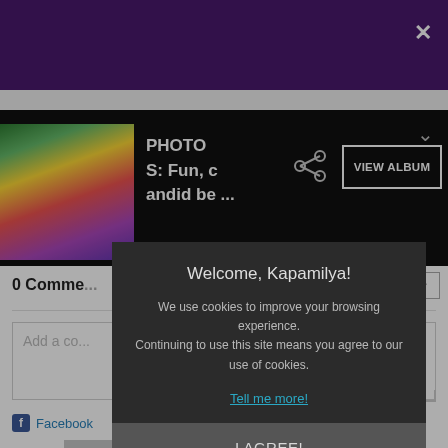[Figure (screenshot): Purple header navigation bar with close (X) button on right]
[Figure (screenshot): Black photo bar showing group photo thumbnail, 'PHOTOS: Fun, candid be ...' label, share icon, and VIEW ALBUM button]
0 Comments
Newest
Add a comment...
Facebook
[Figure (screenshot): Cookie consent modal dialog on dark background]
Welcome, Kapamilya!
We use cookies to improve your browsing experience. Continuing to use this site means you agree to our use of cookies.
Tell me more!
I AGREE!